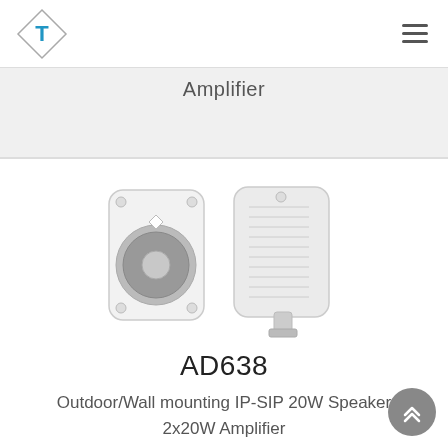T logo | hamburger menu
Amplifier
[Figure (photo): Two white outdoor wall-mounting speakers shown from front and side angles]
AD638
Outdoor/Wall mounting IP-SIP 20W Speaker 2x20W Amplifier